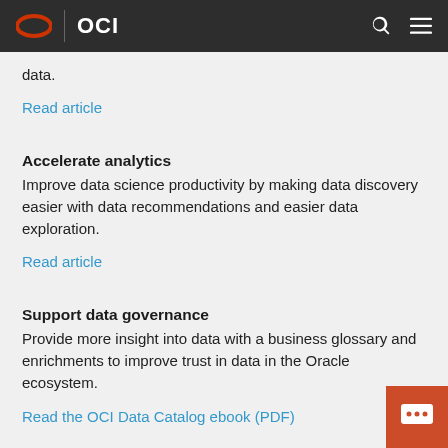OCI
data.
Read article
Accelerate analytics
Improve data science productivity by making data discovery easier with data recommendations and easier data exploration.
Read article
Support data governance
Provide more insight into data with a business glossary and enrichments to improve trust in data in the Oracle ecosystem.
Read the OCI Data Catalog ebook (PDF)